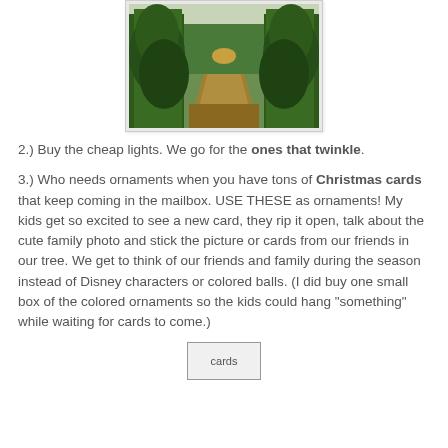[Figure (photo): A photo of rows of Christmas trees in a farm field, viewed from a path between the rows, with forest in the background.]
2.) Buy the cheap lights. We go for the ones that twinkle.
3.) Who needs ornaments when you have tons of Christmas cards that keep coming in the mailbox. USE THESE as ornaments! My kids get so excited to see a new card, they rip it open, talk about the cute family photo and stick the picture or cards from our friends in our tree. We get to think of our friends and family during the season instead of Disney characters or colored balls. (I did buy one small box of the colored ornaments so the kids could hang "something" while waiting for cards to come.)
[Figure (photo): A placeholder image labeled 'cards']